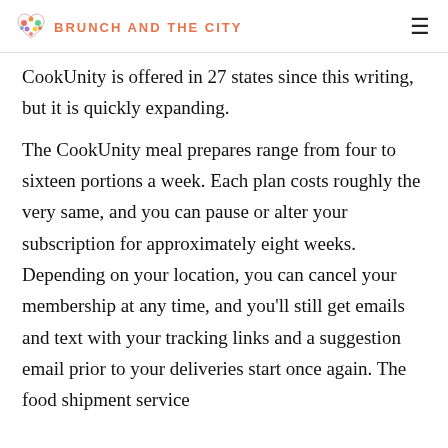BRUNCH AND THE CITY
CookUnity is offered in 27 states since this writing, but it is quickly expanding.
The CookUnity meal prepares range from four to sixteen portions a week. Each plan costs roughly the very same, and you can pause or alter your subscription for approximately eight weeks. Depending on your location, you can cancel your membership at any time, and you’ll still get emails and text with your tracking links and a suggestion email prior to your deliveries start once again. The food shipment service